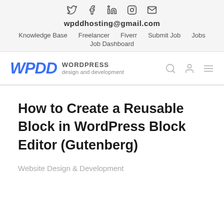♦ f in © ✉  wpddhosting@gmail.com  Knowledge Base  Freelancer  Fiverr  Submit Job  Jobs  Job Dashboard
[Figure (logo): WPDD WordPress design and development logo with search, user, and menu icons]
How to Create a Reusable Block in WordPress Block Editor (Gutenberg)
Website Design & Development